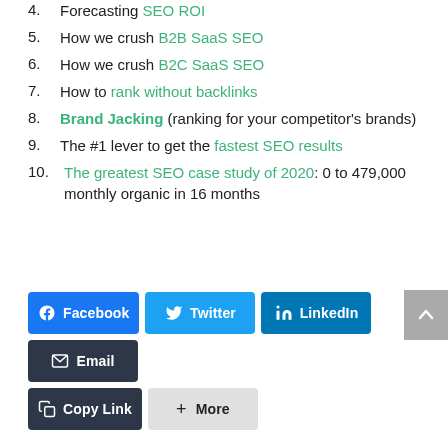4. Forecasting SEO ROI
5. How we crush B2B SaaS SEO
6. How we crush B2C SaaS SEO
7. How to rank without backlinks
8. Brand Jacking (ranking for your competitor's brands)
9. The #1 lever to get the fastest SEO results
10. The greatest SEO case study of 2020: 0 to 479,000 monthly organic in 16 months
Share via:
[Figure (other): Social share buttons: Facebook, Twitter, LinkedIn, Email, Copy Link, More]